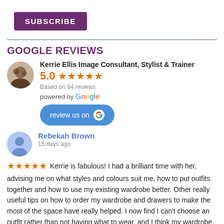[Figure (other): Subscribe button — dark purple rectangle with white SUBSCRIBE text]
GOOGLE REVIEWS
[Figure (other): Business profile: Kerrie Ellis Image Consultant, Stylist & Trainer. Rating 5.0 with 5 orange stars. Based on 94 reviews. Powered by Google. Review us on Google button.]
Rebekah Brown
15 days ago
★★★★★ Kerrie is fabulous! I had a brilliant time with her, advising me on what styles and colours suit me, how to put outfits together and how to use my existing wardrobe better. Other really useful tips on how to order my wardrobe and drawers to make the most of the space have really helped. I now find I can't choose an outfit rather than not having what to wear, and I think my wardrobe has become